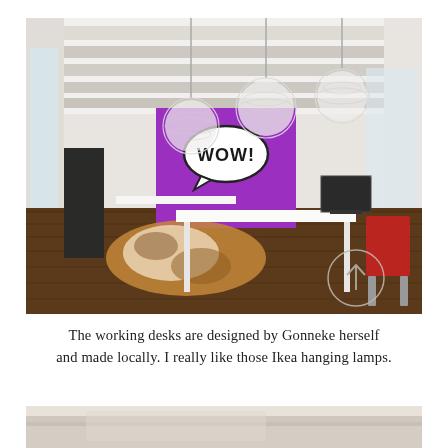[Figure (photo): Interior photo of a modern creative workspace/studio with white wooden beam ceiling, white desks, a bright purple accent wall with a 'WOW!' comic-style speech bubble graphic, cowhide rug on dark hardwood floor, three spherical Ikea pendant lamps hanging from ceiling, computers on desks, red chair, and colorful accessories. An arrow-up circle icon is overlaid at lower right.]
The working desks are designed by Gonneke herself and made locally. I really like those Ikea hanging lamps.
[Figure (photo): Partial photo showing a bright room with light-colored wooden floor, partially visible at bottom of page.]